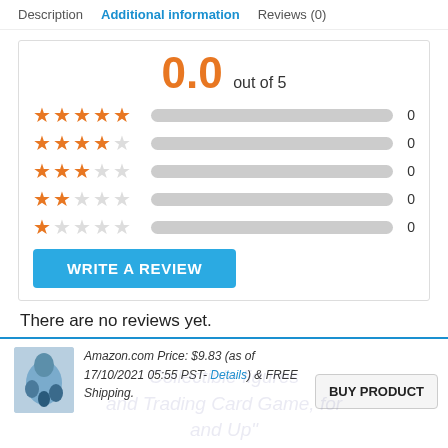Description   Additional information   Reviews (0)
[Figure (infographic): Star rating summary showing 0.0 out of 5 with five rows of star ratings (5-star to 1-star), each showing a progress bar and count of 0]
WRITE A REVIEW
There are no reviews yet.
Amazon.com Price: $9.83 (as of 17/10/2021 05:55 PST- Details) & FREE Shipping.
BUY PRODUCT